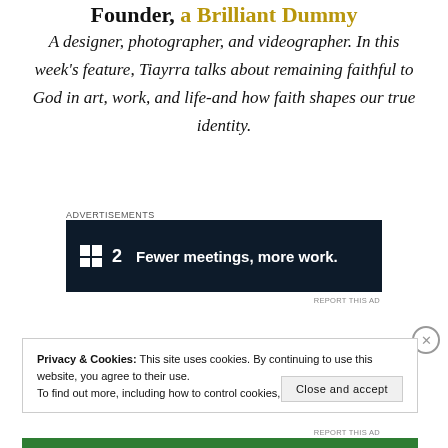Founder, a Brilliant Dummy
A designer, photographer, and videographer. In this week's feature, Tiayrra talks about remaining faithful to God in art, work, and life-and how faith shapes our true identity.
[Figure (screenshot): Advertisement banner with dark background showing 'F2 Fewer meetings, more work.' with 'Advertisements' label above and 'REPORT THIS AD' below.]
Privacy & Cookies: This site uses cookies. By continuing to use this website, you agree to their use.
To find out more, including how to control cookies, see here: Cookie Policy
Close and accept